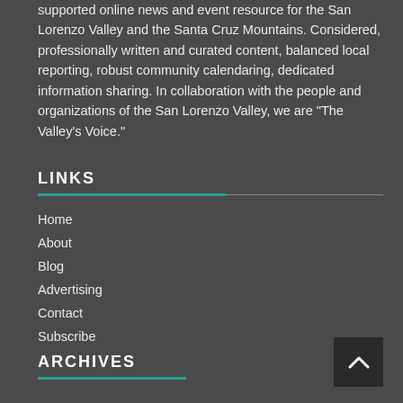supported online news and event resource for the San Lorenzo Valley and the Santa Cruz Mountains. Considered, professionally written and curated content, balanced local reporting, robust community calendaring, dedicated information sharing. In collaboration with the people and organizations of the San Lorenzo Valley, we are “The Valley’s Voice.”
LINKS
Home
About
Blog
Advertising
Contact
Subscribe
ARCHIVES